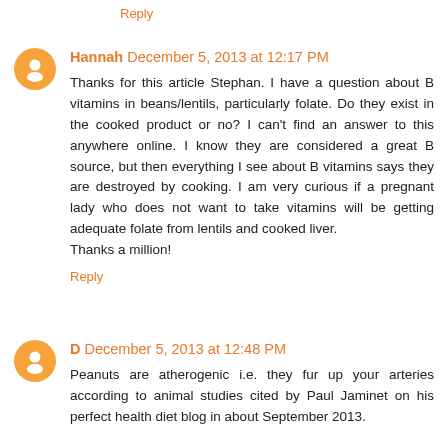Reply
Hannah December 5, 2013 at 12:17 PM
Thanks for this article Stephan. I have a question about B vitamins in beans/lentils, particularly folate. Do they exist in the cooked product or no? I can't find an answer to this anywhere online. I know they are considered a great B source, but then everything I see about B vitamins says they are destroyed by cooking. I am very curious if a pregnant lady who does not want to take vitamins will be getting adequate folate from lentils and cooked liver. Thanks a million!
Reply
D December 5, 2013 at 12:48 PM
Peanuts are atherogenic i.e. they fur up your arteries according to animal studies cited by Paul Jaminet on his perfect health diet blog in about September 2013.